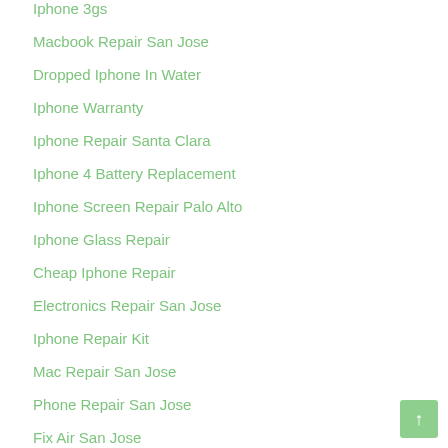Iphone 3gs
Macbook Repair San Jose
Dropped Iphone In Water
Iphone Warranty
Iphone Repair Santa Clara
Iphone 4 Battery Replacement
Iphone Screen Repair Palo Alto
Iphone Glass Repair
Cheap Iphone Repair
Electronics Repair San Jose
Iphone Repair Kit
Mac Repair San Jose
Phone Repair San Jose
Fix Air San Jose